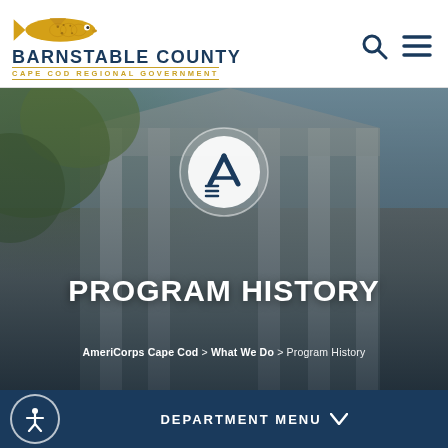[Figure (logo): Barnstable County Cape Cod Regional Government logo with fish illustration]
[Figure (photo): Photo of Barnstable County courthouse building with columns and foliage, overlaid with AmeriCorps circle logo, showing Program History page header]
PROGRAM HISTORY
AmeriCorps Cape Cod > What We Do > Program History
DEPARTMENT MENU